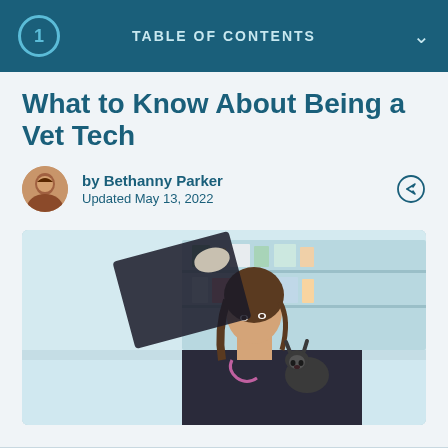1  TABLE OF CONTENTS
What to Know About Being a Vet Tech
by Bethanny Parker
Updated May 13, 2022
[Figure (photo): A female veterinary technician in dark scrubs holding a small cat/kitten while examining an X-ray film held up in a veterinary clinic with shelves of supplies in the background.]